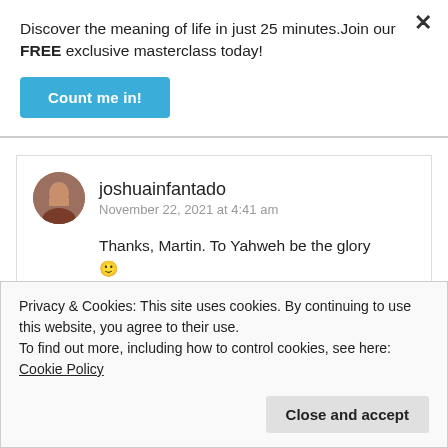Discover the meaning of life in just 25 minutes.Join our FREE exclusive masterclass today!
Count me in!
joshuainfantado
November 22, 2021 at 4:41 am
Thanks, Martin. To Yahweh be the glory 🙂
Like
Privacy & Cookies: This site uses cookies. By continuing to use this website, you agree to their use.
To find out more, including how to control cookies, see here: Cookie Policy
Close and accept